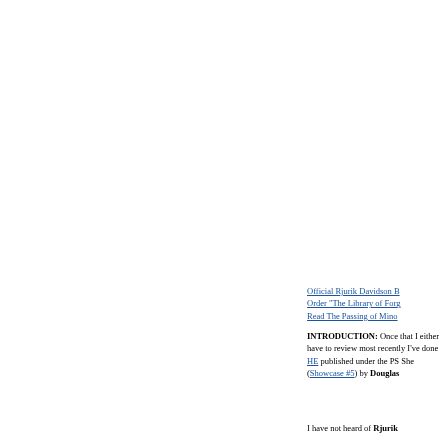Official Rjurik Davidson B
Order "The Library of Forg
Read The Passing of Mino
INTRODUCTION: Once that I either have to review most recently I've done HE published under the PS She (Showcase #5) by Douglas
I have not heard of Rjurik